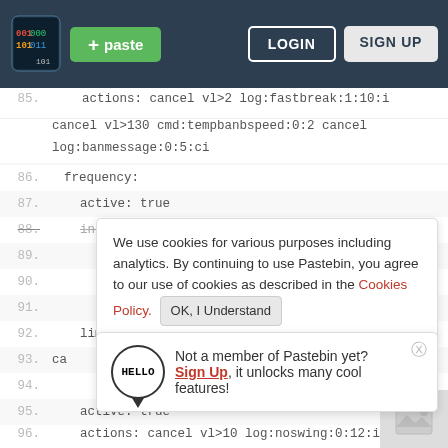[Figure (screenshot): Pastebin website header with logo, paste button (green), LOGIN and SIGN UP buttons on dark background]
actions: cancel vl>2 log:fastbreak:1:10:i cancel vl>130 cmd:tempbanbspeed:0:2 cancel log:banmessage:0:5:ci
86. frequency:
87.     active: true
88.     intervalcreative: 05
89.
90.
91.
We use cookies for various purposes including analytics. By continuing to use Pastebin, you agree to our use of cookies as described in the Cookies Policy. OK, I Understand
92.     limit: 0
93. ca
Not a member of Pastebin yet? Sign Up, it unlocks many cool features!
94.
95.     active: true
96.     actions: cancel vl>10 log:noswing:0:12:i cancel
97.     reach: